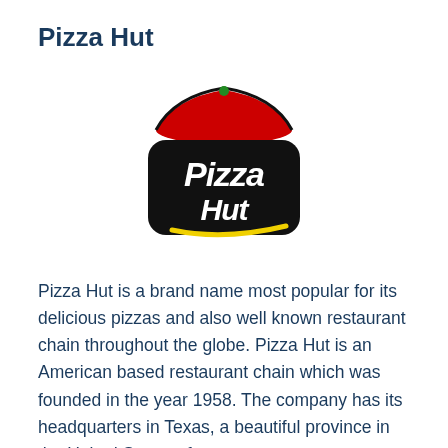Pizza Hut
[Figure (logo): Pizza Hut logo: red hut-shaped roof above the stylized black script text 'Pizza Hut' with a yellow swoosh underline]
Pizza Hut is a brand name most popular for its delicious pizzas and also well known restaurant chain throughout the globe. Pizza Hut is an American based restaurant chain which was founded in the year 1958. The company has its headquarters in Texas, a beautiful province in the United States of